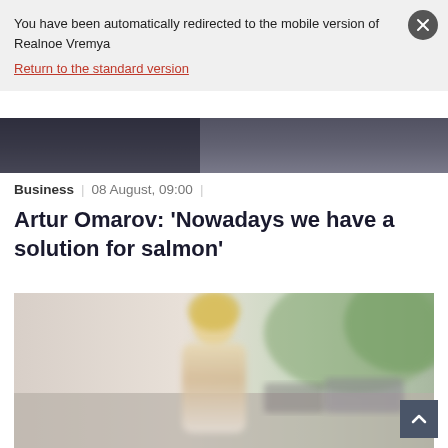You have been automatically redirected to the mobile version of Realnoe Vremya
Return to the standard version
[Figure (photo): Blurred dark image strip at top of article]
Business | 08 August, 09:00 |
Artur Omarov: ‘Nowadays we have a solution for salmon’
[Figure (photo): Blurred outdoor photo of a blonde person, likely a woman, standing outdoors with trees and cars in background]